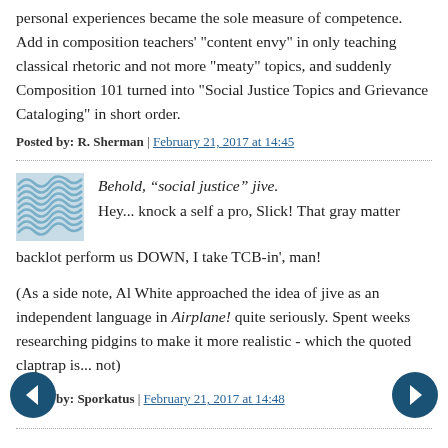personal experiences became the sole measure of competence. Add in composition teachers' "content envy" in only teaching classical rhetoric and not more "meaty" topics, and suddenly Composition 101 turned into "Social Justice Topics and Grievance Cataloging" in short order.
Posted by: R. Sherman | February 21, 2017 at 14:45
Behold, “social justice” jive.
Hey... knock a self a pro, Slick! That gray matter backlot perform us DOWN, I take TCB-in', man!
(As a side note, Al White approached the idea of jive as an independent language in Airplane! quite seriously. Spent weeks researching pidgins to make it more realistic - which the quoted claptrap is... not)
Posted by: Sporkatus | February 21, 2017 at 14:48